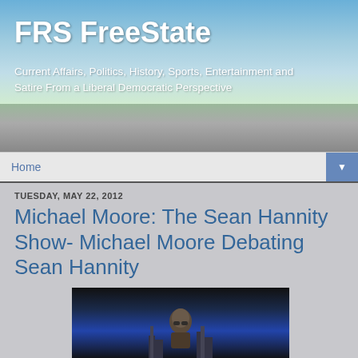FRS FreeState
Current Affairs, Politics, History, Sports, Entertainment and Satire From a Liberal Democratic Perspective
Home
TUESDAY, MAY 22, 2012
Michael Moore: The Sean Hannity Show- Michael Moore Debating Sean Hannity
[Figure (photo): Video thumbnail showing a man (Michael Moore) sitting against a dark blue background with city skyline silhouette]